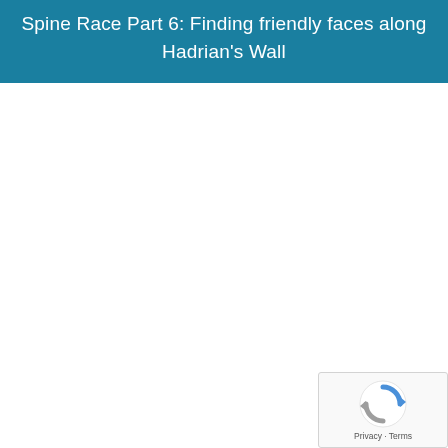Spine Race Part 6: Finding friendly faces along Hadrian's Wall
[Figure (logo): reCAPTCHA widget with spinning arrows logo and Privacy - Terms text]